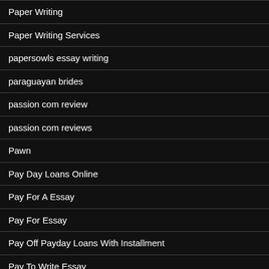Paper Writing
Paper Writing Services
papersowls essay writing
paraguayan brides
passion com review
passion com reviews
Pawn
Pay Day Loans Online
Pay For A Essay
Pay For Essay
Pay Off Payday Loans With Installment
Pay To Write Essay